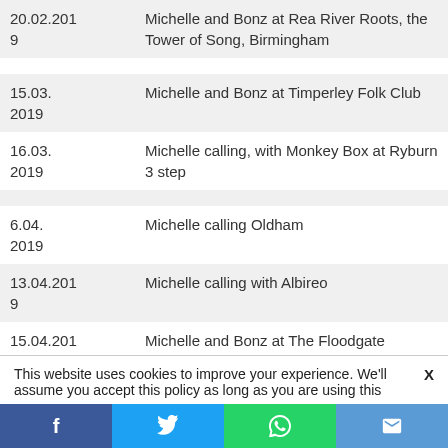| Date | Event |
| --- | --- |
| 20.02.2019 | Michelle and Bonz at Rea River Roots, the Tower of Song, Birmingham |
| 15.03.
2019 | Michelle and Bonz at Timperley Folk Club |
| 16.03.
2019 | Michelle calling, with Monkey Box at Ryburn 3 step |
| 6.04.
2019 | Michelle calling Oldham |
| 13.04.2019 | Michelle calling with Albireo |
| 15.04.2019 | Michelle and Bonz at The Floodgate |
| 17.04.2019 | Michelle and Bonz at the Carpenter's Arms |
This website uses cookies to improve your experience. We'll assume you accept this policy as long as you are using this
f  [Twitter]  [WhatsApp]  [Email]